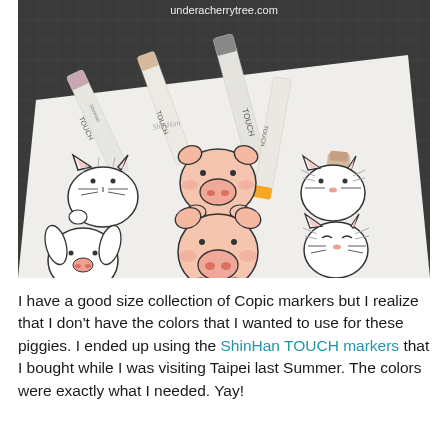[Figure (photo): Photo of TOUCH ShinHan markers laid on a white paper with cute hand-drawn animal illustrations (cats, pigs, a dog/bunny) colored with pink/peach tones, on a dark grid cutting mat background. The markers are white with gray/pink/beige/orange tips. Website URL underacherrytree.com visible at top.]
I have a good size collection of Copic markers but I realize that I don't have the colors that I wanted to use for these piggies. I ended up using the ShinHan TOUCH markers that I bought while I was visiting Taipei last Summer. The colors were exactly what I needed. Yay!